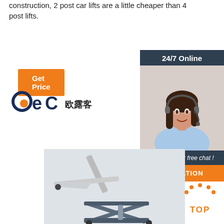construction, 2 post car lifts are a little cheaper than 4 post lifts.
[Figure (other): Orange 'Get Price' button]
[Figure (logo): BEC 欧露客 company logo]
[Figure (other): 24/7 Online chat panel with customer service representative photo, 'Click here for free chat!' text, and orange QUOTATION button]
[Figure (photo): Car lift / scissor lift equipment photo]
[Figure (other): Orange and dark TOP button with dot arc icon]